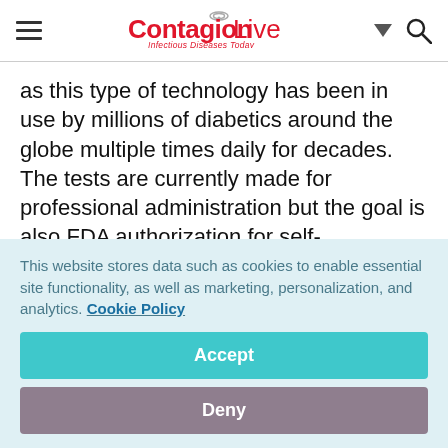ContagionLive — Infectious Diseases Today
as this type of technology has been in use by millions of diabetics around the globe multiple times daily for decades. The tests are currently made for professional administration but the goal is also FDA authorization for self-administered testing, meaning they are also built for at-home and more individually oriented
This website stores data such as cookies to enable essential site functionality, as well as marketing, personalization, and analytics. Cookie Policy
Accept
Deny